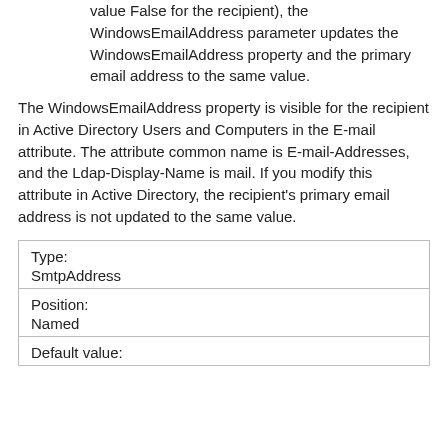value False for the recipient), the WindowsEmailAddress parameter updates the WindowsEmailAddress property and the primary email address to the same value.
The WindowsEmailAddress property is visible for the recipient in Active Directory Users and Computers in the E-mail attribute. The attribute common name is E-mail-Addresses, and the Ldap-Display-Name is mail. If you modify this attribute in Active Directory, the recipient's primary email address is not updated to the same value.
| Type: | SmtpAddress |
| Position: | Named |
| Default value: |  |